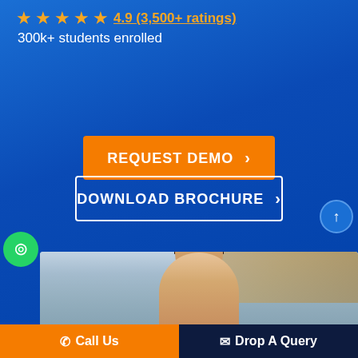4.9 (3,500+ ratings) ★★★★★ 300k+ students enrolled
REQUEST DEMO >
DOWNLOAD BROCHURE >
[Figure (photo): Young man smiling, seated at a desk with a laptop, wooden background]
Call Us
Drop A Query